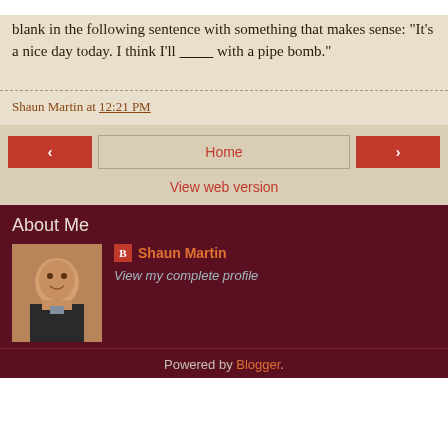Briefly put, there's pretty much no possible way to fill in the blank in the following sentence with something that makes sense:  "It's a nice day today.  I think I'll _________ with a pipe bomb."
Shaun Martin at 12:21 PM
‹  Home  ›
View web version
About Me
Shaun Martin
View my complete profile
Powered by Blogger.